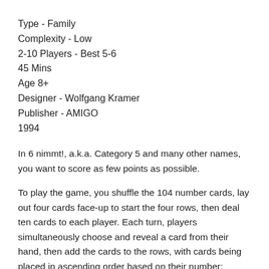Type - Family
Complexity - Low
2-10 Players - Best 5-6
45 Mins
Age 8+
Designer - Wolfgang Kramer
Publisher - AMIGO
1994
In 6 nimmt!, a.k.a. Category 5 and many other names, you want to score as few points as possible.
To play the game, you shuffle the 104 number cards, lay out four cards face-up to start the four rows, then deal ten cards to each player. Each turn, players simultaneously choose and reveal a card from their hand, then add the cards to the rows, with cards being placed in ascending order based on their number; specifically, each card is placed in the row that ends with the highest number that's below the card's number. When the sixth card is placed in a row, the owner of that card claims the other five cards and the sixth card becomes the first card in